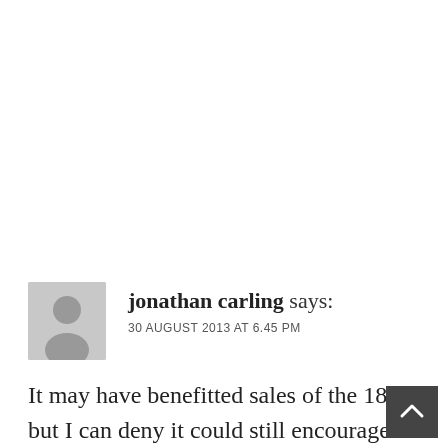jonathan carling says:
30 AUGUST 2013 AT 6.45 PM
It may have benefitted sales of the 1800, but I can deny it could still encourage idea